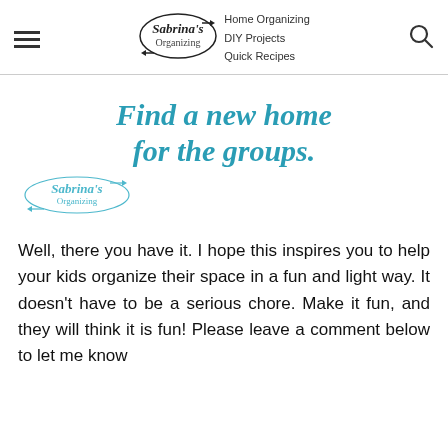Sabrina's Organizing — Home Organizing, DIY Projects, Quick Recipes
Find a new home for the groups.
[Figure (logo): Sabrina's Organizing watermark logo in light blue/teal]
Well, there you have it. I hope this inspires you to help your kids organize their space in a fun and light way. It doesn't have to be a serious chore. Make it fun, and they will think it is fun! Please leave a comment below to let me know